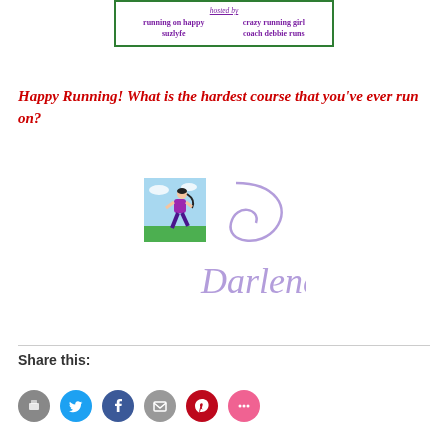[Figure (illustration): Banner with green border showing 'hosted by' in purple italic text and names: running on happy, suzlyfe, crazy running girl, coach debbie runs in purple bold text arranged in two columns]
Happy Running! What is the hardest course that you've ever run on?
[Figure (illustration): Signature graphic with a cartoon woman running on a blue/green background on the left, and a purple cursive signature reading 'Darlene' with a decorative swirl on the right]
Share this:
[Figure (infographic): Row of social sharing icon circles: print (grey), Twitter (blue), Facebook (dark blue), email (grey), Pinterest (red), more (pink)]